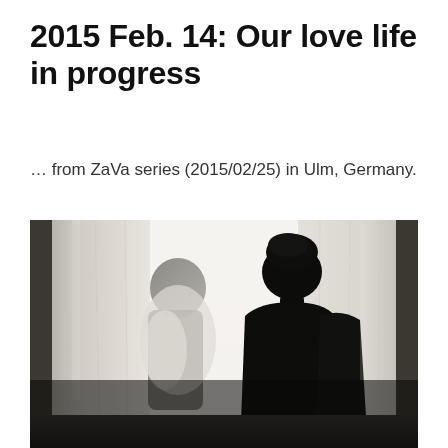2015 Feb. 14: Our love life in progress
… from ZaVa series (2015/02/25) in Ulm, Germany.
[Figure (photo): Artistic silhouette photograph of two figures near sheer curtains by a bright window. One figure appears behind the translucent curtain on the left showing a shadowy outline, and a second figure with a head wrap/towel on the right is in sharp dark silhouette against the bright white curtains and window light. The scene evokes intimacy and romance.]